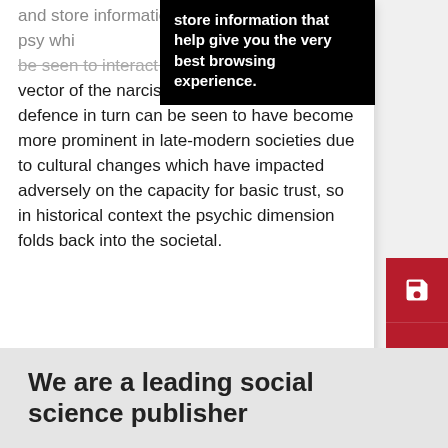[Figure (screenshot): Cookie/browser notification banner overlay with black background and white bold text reading 'store information that help give you the very best browsing experience.']
and store information that help psy... whi... be seen to interact with the intra-psychic vector of the narcissistic defence. That defence in turn can be seen to have become more prominent in late-modern societies due to cultural changes which have impacted adversely on the capacity for basic trust, so in historical context the psychic dimension folds back into the societal.
We are a leading social science publisher